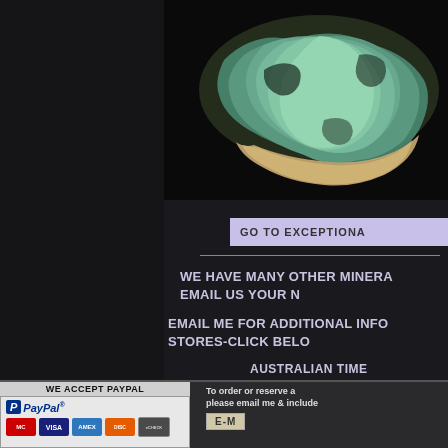[Figure (photo): Mineral specimen with blue-green turquoise coloring on dark background]
GO TO EXCEPTIONA
WE HAVE MANY OTHER MINERA EMAIL US YOUR N
EMAIL ME FOR ADDITIONAL INFO STORES-CLICK BELO
AUSTRALIAN TIME
WE ACCEPT PAYPAL
[Figure (logo): PayPal logo with credit card icons: MasterCard, VISA, AMEX, DISCOVER, eCheck]
To order or reserve a please email me & include E-M